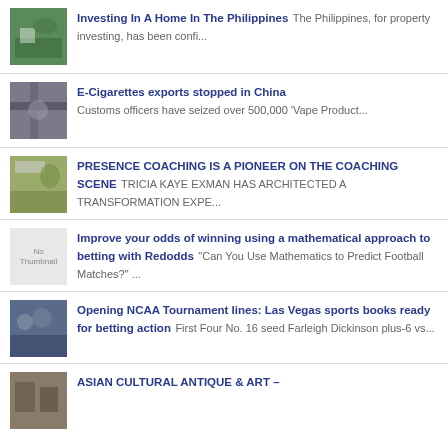Investing In A Home In The Philippines The Philippines, for property investing, has been confi...
E-Cigarettes exports stopped in China Customs officers have seized over 500,000 'Vape Product...
PRESENCE COACHING IS A PIONEER ON THE COACHING SCENE TRICIA KAYE EXMAN HAS ARCHITECTED A TRANSFORMATION EXPE...
Improve your odds of winning using a mathematical approach to betting with Redodds "Can You Use Mathematics to Predict Football Matches?" ...
Opening NCAA Tournament lines: Las Vegas sports books ready for betting action First Four No. 16 seed Farleigh Dickinson plus-6 vs...
ASIAN CULTURAL ANTIQUE & ART –